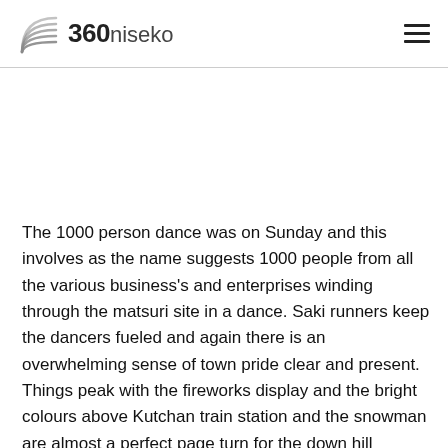360niseko
The 1000 person dance was on Sunday and this involves as the name suggests 1000 people from all the various business's and enterprises winding through the matsuri site in a dance. Saki runners keep the dancers fueled and again there is an overwhelming sense of town pride clear and present. Things peak with the fireworks display and the bright colours above Kutchan train station and the snowman are almost a perfect page turn for the down hill